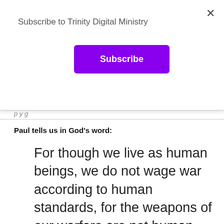×
Subscribe to Trinity Digital Ministry
Subscribe
Paul tells us in God's word:
For though we live as human beings, we do not wage war according to human standards, for the weapons of our warfare are not human weapons, but are made powerful by God for tearing down strongholds. We tear down